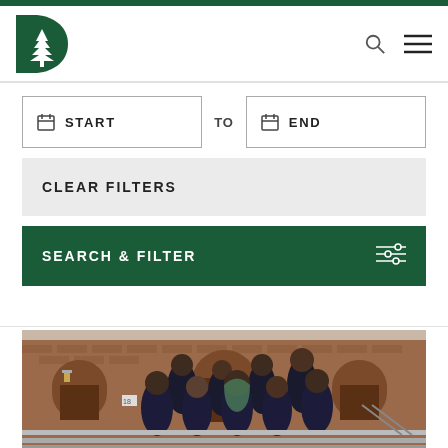[Figure (logo): Dartmouth College 'D' pine tree logo in green]
[Figure (screenshot): Date range filter UI with START and END date input boxes connected by TO label]
CLEAR FILTERS
SEARCH & FILTER
[Figure (photo): Group photo of approximately 10 Black students wearing dark navy polo shirts with Dartmouth logo, standing in front of a brick building with arched doorways]